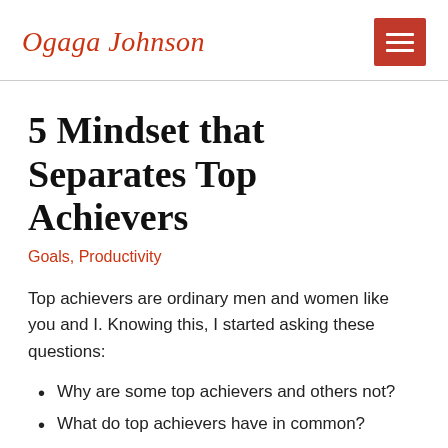Ogaga Johnson
5 Mindset that Separates Top Achievers
Goals, Productivity
Top achievers are ordinary men and women like you and I. Knowing this, I started asking these questions:
Why are some top achievers and others not?
What do top achievers have in common?
I have come to realize that it's not their family background